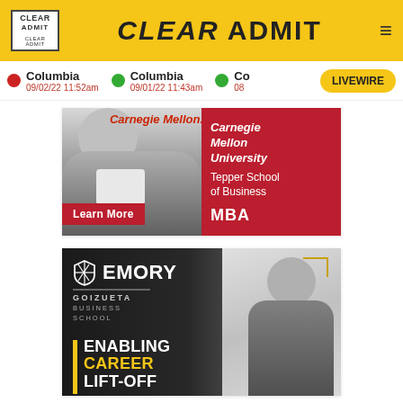CLEAR ADMIT
Columbia 09/02/22 11:52am | Columbia 09/01/22 11:43am | Co 08 | LIVEWIRE
[Figure (illustration): Carnegie Mellon Tepper School of Business MBA advertisement banner with a man in suit, Learn More button, red box with university branding]
[Figure (illustration): Emory Goizueta Business School advertisement with woman smiling, text: ENABLING CAREER LIFT-OFF, gold vertical bar accent, corner bracket decoration]